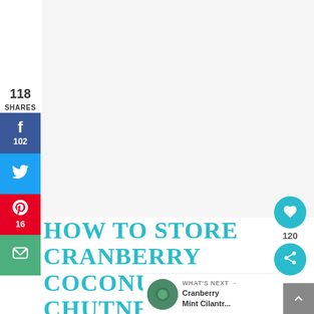[Figure (photo): Light gray image placeholder area at the top of a food blog page]
118
SHARES
[Figure (infographic): Facebook share button with count 102]
[Figure (infographic): Twitter share button]
[Figure (infographic): Pinterest share button with count 16]
[Figure (infographic): Email share button]
HOW TO STORE CRANBERRY COCONUT CHUTNEY
[Figure (infographic): Heart/like button showing 120 likes and a share button, teal circular buttons on right side]
[Figure (photo): Small circular thumbnail of Cranberry Mint Cilantro dish for What's Next section]
WHAT'S NEXT → Cranberry Mint Cilantr...